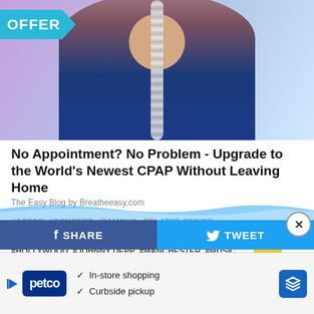[Figure (photo): Advertisement image showing a woman wearing a CPAP mask/tube against a purple and blue background with 'OFFER' badge on left]
No Appointment? No Problem - Upgrade to the World's Newest CPAP Without Leaving Home
The Easy Blog by Breatheeasy.com
#ACTOR  #CONCERT  #FAMOUS  RELATED TOPICS: #GREATER MANCHESTER  #HOLLYWOOD  #JOHNNY DEPP  #MANCHESTER  #MUSIC  #SHEFFIELD  #YORKSHIRE
UP NEXT
These Greater Manchester pubs are selling 6p
[Figure (infographic): Facebook SHARE and Twitter TWEET share bar at bottom with close button]
[Figure (infographic): Petco advertisement banner with In-store shopping and Curbside pickup checkmarks]